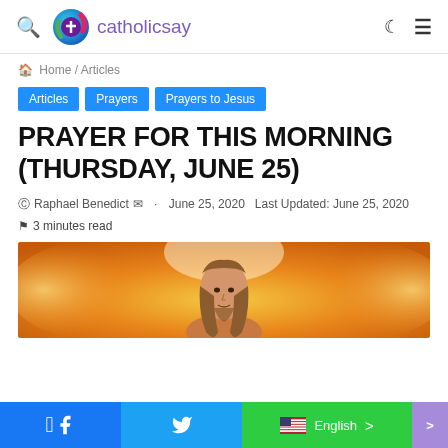catholicsay
Home / Articles
Articles
Prayers
Prayers to Jesus
PRAYER FOR THIS MORNING (THURSDAY, JUNE 25)
Raphael Benedict · June 25, 2020  Last Updated: June 25, 2020
3 minutes read
[Figure (photo): Portrait of Jesus Christ with long brown hair against a golden glowing background with clouds]